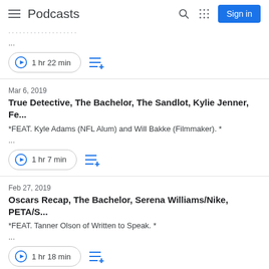Podcasts
...
1 hr 22 min
Mar 6, 2019
True Detective, The Bachelor, The Sandlot, Kylie Jenner, Fe...
*FEAT. Kyle Adams (NFL Alum) and Will Bakke (Filmmaker). *
...
1 hr 7 min
Feb 27, 2019
Oscars Recap, The Bachelor, Serena Williams/Nike, PETA/S...
*FEAT. Tanner Olson of Written to Speak. *
...
1 hr 18 min